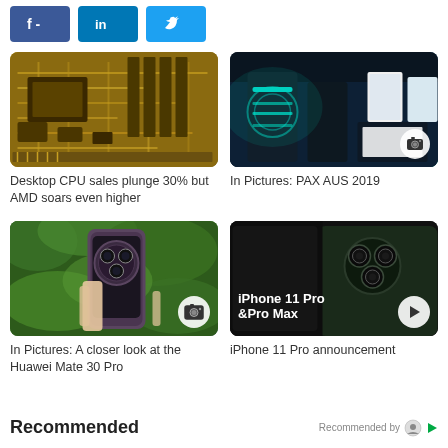[Figure (screenshot): Facebook share button (blue)]
[Figure (screenshot): LinkedIn share button (blue)]
[Figure (screenshot): Twitter share button (light blue)]
[Figure (photo): Close-up of a yellow/gold circuit board motherboard]
[Figure (photo): Gaming PC setup with cyan/teal RGB lighting at PAX AUS 2019, with camera gallery icon overlay]
Desktop CPU sales plunge 30% but AMD soars even higher
In Pictures: PAX AUS 2019
[Figure (photo): Hand holding Huawei Mate 30 Pro smartphone against green leaves background, with camera gallery icon overlay]
[Figure (photo): iPhone 11 Pro & Pro Max promotional image with play button overlay]
In Pictures: A closer look at the Huawei Mate 30 Pro
iPhone 11 Pro announcement
Recommended
Recommended by